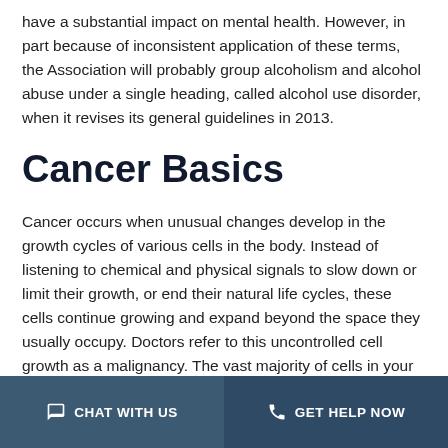have a substantial impact on mental health. However, in part because of inconsistent application of these terms, the Association will probably group alcoholism and alcohol abuse under a single heading, called alcohol use disorder, when it revises its general guidelines in 2013.
Cancer Basics
Cancer occurs when unusual changes develop in the growth cycles of various cells in the body. Instead of listening to chemical and physical signals to slow down or limit their growth, or end their natural life cycles, these cells continue growing and expand beyond the space they usually occupy. Doctors refer to this uncontrolled cell growth as a malignancy. The vast majority of cells in your body can undergo cancerous changes, and the specific form of cancer present depends upon the type of cell affected, as well as the
CHAT WITH US   GET HELP NOW